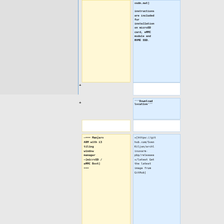osdn.net]
instructions are included for installation on microSD card, eMMC module and NVME SSD.
+
+ '''Download location'''
=== Manjaro ARM with i3 tiling window manager –[microSD / eMMC Boot] ===
+ [https://github.com/SvenKiljan/archlinuxarm-pbp/releases/latest Get the latest image from GitHub]